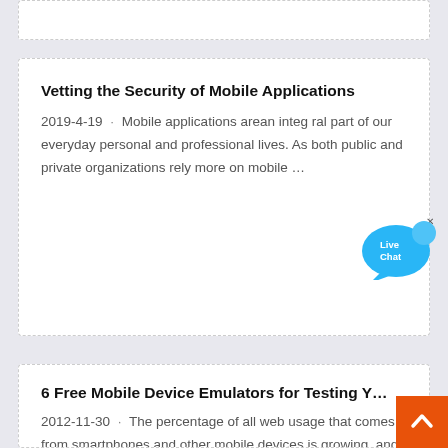(partial card top)
Vetting the Security of Mobile Applications
2019-4-19 · Mobile applications arean integ ral part of our everyday personal and professional lives. As both public and private organizations rely more on mobile …
[Figure (illustration): Live Chat speech bubble widget with blue balloon and 'Live Chat' text, with an X close button]
6 Free Mobile Device Emulators for Testing Y…
2012-11-30 · The percentage of all web usage that comes from smartphones and other mobile devices is growing, and it won"t be long before
[Figure (illustration): Orange back-to-top button with white upward chevron arrow]